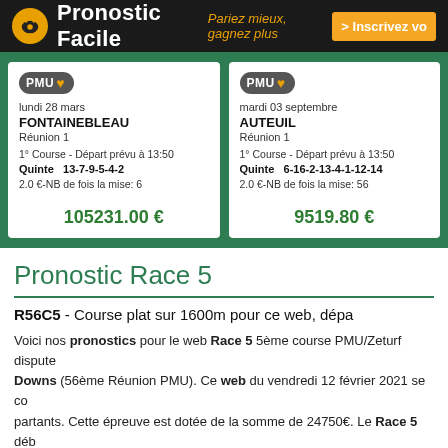Pronostic Facile — Pariez mieux, gagnez plus — > Inscrivez vo
| PMU | lundi 28 mars | FONTAINEBLEAU | Réunion 1 | 1° Course - Départ prévu à 13:50 | Quinte 13-7-9-5-4-2 | 2.0 €-NB de fois la mise: 6 | 105231.00 € |
| PMU | mardi 03 septembre | AUTEUIL | Réunion 1 | 1° Course - Départ prévu à 13:50 | Quinte 6-16-2-13-4-1-12-14 | 2.0 €-NB de fois la mise: 56 | 9519.80 € |
Pronostic Race 5
R56C5 - Course plat sur 1600m pour ce web, dépa
Voici nos pronostics pour le web Race 5 5ème course PMU/Zeturf dispute Downs (56ème Réunion PMU). Ce web du vendredi 12 février 2021 se co partants. Cette épreuve est dotée de la somme de 24750€. Le Race 5 déb rapports du Race 5 après l'arrivée.